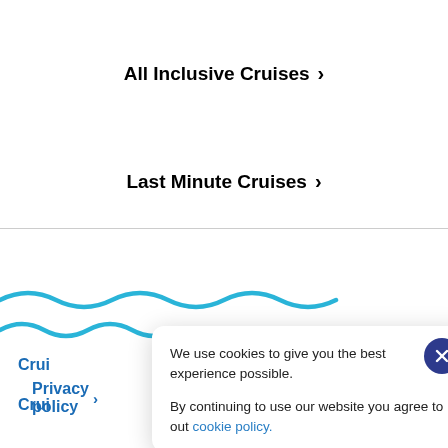All Inclusive Cruises ›
Last Minute Cruises ›
[Figure (illustration): Blue wavy lines representing ocean waves, decorative footer element]
Back to top ↑
Crui...
Crui...
Privacy policy ›
We use cookies to give you the best experience possible.

By continuing to use our website you agree to out cookie policy.